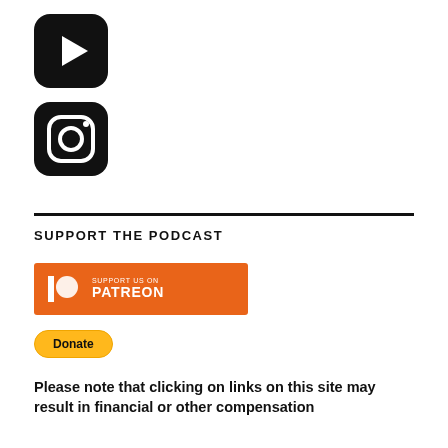[Figure (logo): YouTube logo icon — black rounded square with white play button triangle]
[Figure (logo): Instagram logo icon — black rounded square with camera outline]
SUPPORT THE PODCAST
[Figure (logo): Orange Patreon button with white Patreon logo and text 'SUPPORT US ON PATREON']
[Figure (other): Yellow PayPal Donate button]
Please note that clicking on links on this site may result in financial or other compensation